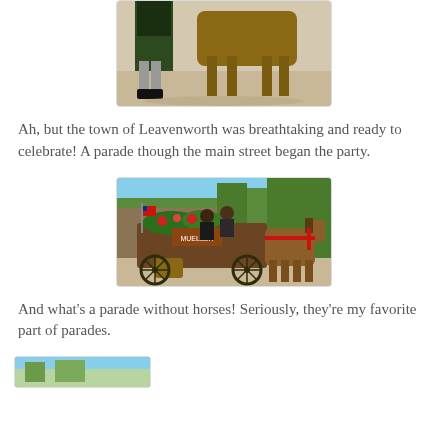[Figure (photo): Top portion of a horse and a person in traditional German lederhosen costume standing on a street during a parade in Leavenworth]
Ah, but the town of Leavenworth was breathtaking and ready to celebrate! A parade though the main street began the party.
[Figure (photo): A decorated horse-drawn wagon with flowers and greenery, riders in traditional attire, and a horse with red harness at a parade in Leavenworth]
And what's a parade without horses! Seriously, they're my favorite part of parades.
[Figure (photo): Partial view of another parade photo at the bottom of the page]